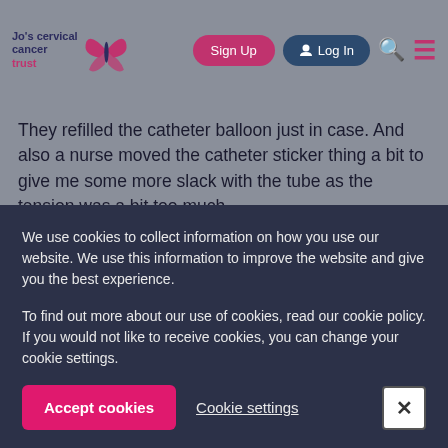Jo's Cervical Cancer Trust | Sign Up | Log In
They refilled the catheter balloon just in case. And also a nurse moved the catheter sticker thing a bit to give me some more slack with the tube as the tension was a bit too much.
But now my bladder feels uncomfortable. I feel like I need to pee all the time and I have a stinging sensation. I don't think I have an infection as my urine is clear.
We use cookies to collect information on how you use our website. We use this information to improve the website and give you the best experience.

To find out more about our use of cookies, read our cookie policy. If you would not like to receive cookies, you can change your cookie settings.
Accept cookies | Cookie settings | X